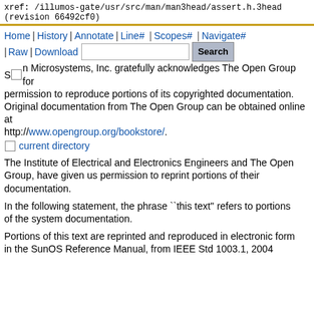xref: /illumos-gate/usr/src/man/man3head/assert.h.3head
(revision 66492cf0)
Home | History | Annotate | Line# | Scopes# | Navigate# | Raw | Download  [search box] Search  current directory
Sun Microsystems, Inc. gratefully acknowledges The Open Group for
permission to reproduce portions of its copyrighted documentation.
Original documentation from The Open Group can be obtained online at
http://www.opengroup.org/bookstore/.
The Institute of Electrical and Electronics Engineers and The Open
Group, have given us permission to reprint portions of their documentation.
In the following statement, the phrase ``this text'' refers to portions
of the system documentation.
Portions of this text are reprinted and reproduced in electronic form
in the SunOS Reference Manual, from IEEE Std 1003.1, 2004